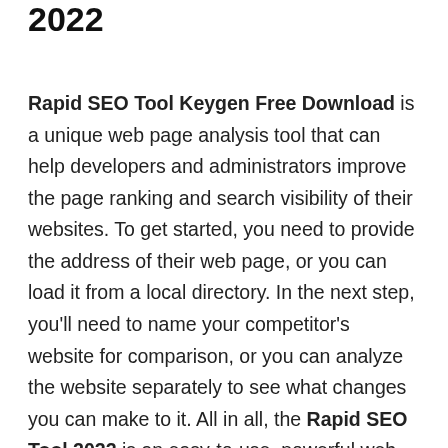2022
Rapid SEO Tool Keygen Free Download is a unique web page analysis tool that can help developers and administrators improve the page ranking and search visibility of their websites. To get started, you need to provide the address of their web page, or you can load it from a local directory. In the next step, you'll need to name your competitor's website for comparison, or you can analyze the website separately to see what changes you can make to it. All in all, the Rapid SEO Tool 2022 is an easy-to-use, powerful web analysis tool that gives developers a better understanding of what they need to optimize their website. You can get the latest version of USB Secure Crack…You can download the latest version